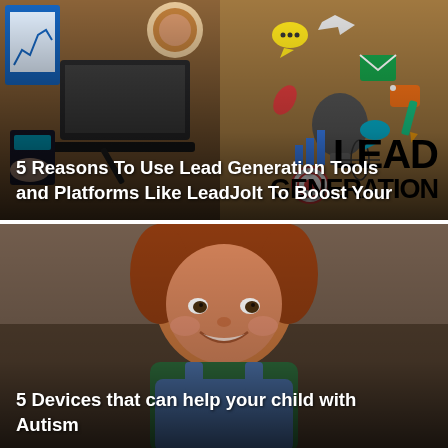[Figure (photo): Top-down view of a desk with laptop, tablet, coffee cup, and a lightbulb with colorful marketing icons (chat bubbles, phone, email, trophy, globe, pencil, chart, target) on a wooden surface. Overlay text reads 'LEAD GENERATION' in large bold black text.]
5 Reasons To Use Lead Generation Tools and Platforms Like LeadJolt To Boost Your
[Figure (photo): Close-up photo of a young smiling boy with reddish-brown hair wearing a green shirt and denim overalls, outdoors with a blurred background.]
5 Devices that can help your child with Autism